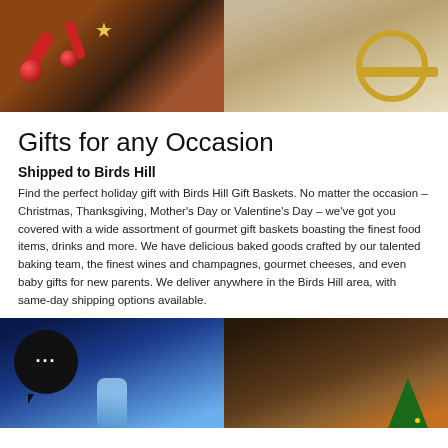[Figure (photo): Two images side by side: left shows Christmas/holiday chocolates and candies with a gold star and red ornaments on dark background; right shows a gift basket with gold ribbon and circular decoration on light background.]
Gifts for any Occasion
Shipped to Birds Hill
Find the perfect holiday gift with Birds Hill Gift Baskets. No matter the occasion – Christmas, Thanksgiving, Mother’s Day or Valentine’s Day – we’ve got you covered with a wide assortment of gourmet gift baskets boasting the finest food items, drinks and more. We have delicious baked goods crafted by our talented baking team, the finest wines and champagnes, gourmet cheeses, and even baby gifts for new parents. We deliver anywhere in the Birds Hill area, with same-day shipping options available.
[Figure (photo): Two images side by side: left shows a chat bubble icon over a blue snowy background with a figure; right shows a dark brown/rustic background with a Christmas tree visible.]